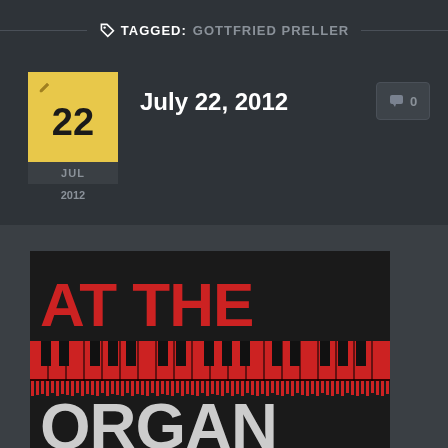TAGGED: GOTTFRIED PRELLER
July 22, 2012
[Figure (illustration): Album cover artwork showing 'AT THE ORGAN' text with piano keyboard graphic in red and white on black background]